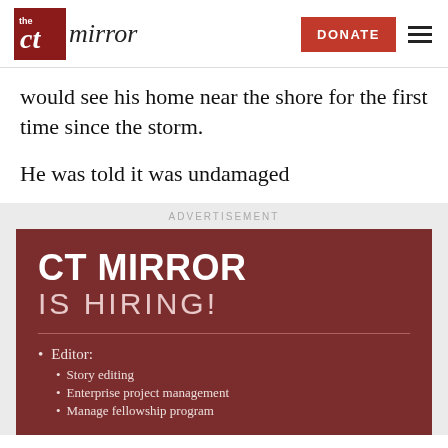the CT mirror | DONATE
would see his home near the shore for the first time since the storm.
He was told it was undamaged
ADVERTISEMENT
[Figure (infographic): CT Mirror is hiring advertisement banner with dark red background. Lists Editor position with sub-bullets: Story editing, Enterprise project management, Manage fellowship program (partially visible).]